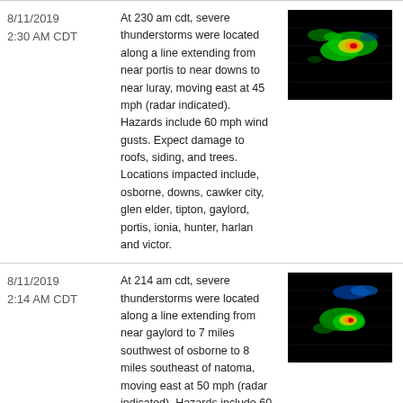| Date/Time | Description | Radar Image |
| --- | --- | --- |
| 8/11/2019
2:30 AM CDT | At 230 am cdt, severe thunderstorms were located along a line extending from near portis to near downs to near luray, moving east at 45 mph (radar indicated). Hazards include 60 mph wind gusts. Expect damage to roofs, siding, and trees. Locations impacted include, osborne, downs, cawker city, glen elder, tipton, gaylord, portis, ionia, hunter, harlan and victor. | [radar image] |
| 8/11/2019
2:14 AM CDT | At 214 am cdt, severe thunderstorms were located along a line extending from near gaylord to 7 miles southwest of osborne to 8 miles southeast of natoma, moving east at 50 mph (radar indicated). Hazards include 60 mph wind gusts and penny size hail. expect damage to roofs, siding, and trees | [radar image] |
| 8/11/2019
2:07 AM CDT | At 207 am cdt, severe thunderstorms were located along a line extending... | [radar image] |